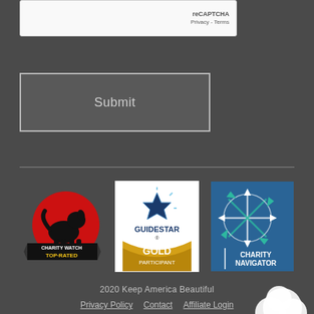[Figure (screenshot): reCAPTCHA widget with 'reCAPTCHA' text and 'Privacy - Terms' links]
[Figure (screenshot): Submit button with gray background and white border]
[Figure (logo): CharityWatch Top-Rated logo - red circle with black dog silhouette]
[Figure (logo): GuideStar Gold Participant logo on white background]
[Figure (logo): Charity Navigator logo - blue square with white compass/star design]
2020 Keep America Beautiful
Privacy Policy   Contact   Affiliate Login
[Figure (logo): Partial cloud/social media icon at bottom right]